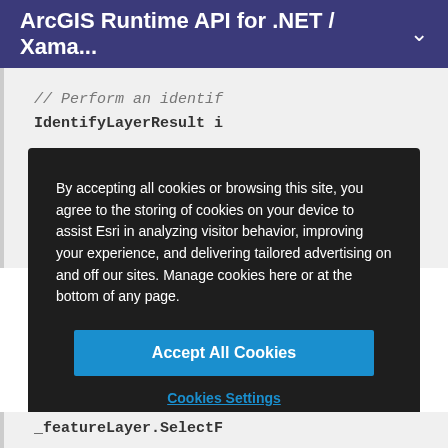ArcGIS Runtime API for .NET / Xama...
[Figure (screenshot): Code snippet showing commented code line '// Perform an identif' and 'IdentifyLayerResult i' in a light gray code editor background]
By accepting all cookies or browsing this site, you agree to the storing of cookies on your device to assist Esri in analyzing visitor behavior, improving your experience, and delivering tailored advertising on and off our sites. Manage cookies here or at the bottom of any page.
Accept All Cookies
Cookies Settings
[Figure (screenshot): Code snippet showing '_featureLayer.SelectF' in a light gray code editor background]